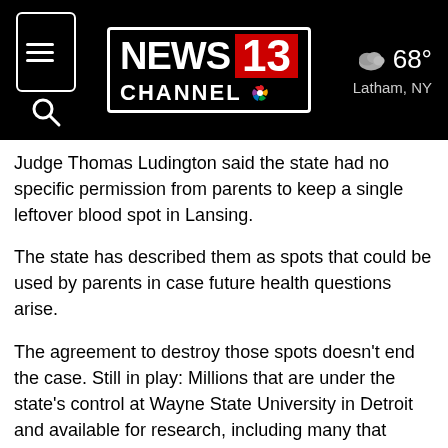NEWS CHANNEL 13 | 68° Latham, NY
Judge Thomas Ludington said the state had no specific permission from parents to keep a single leftover blood spot in Lansing.
The state has described them as spots that could be used by parents in case future health questions arise.
The agreement to destroy those spots doesn't end the case. Still in play: Millions that are under the state's control at Wayne State University in Detroit and available for research, including many that precede May 2010 when the health department began asking for parental consent.
In the months ahead, Ludington will hold a trial to try to determine how many blood spots really are needed for newborn disease screening, including to calibrate critical testing equipment, among other issues.